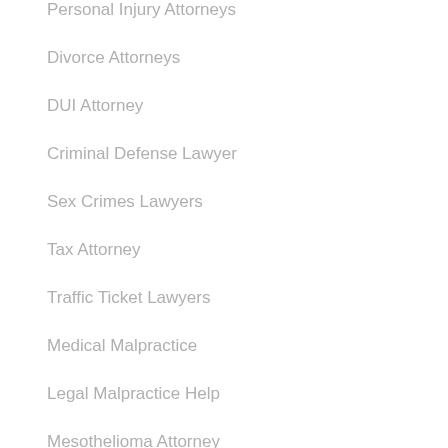Personal Injury Attorneys
Divorce Attorneys
DUI Attorney
Criminal Defense Lawyer
Sex Crimes Lawyers
Tax Attorney
Traffic Ticket Lawyers
Medical Malpractice
Legal Malpractice Help
Mesothelioma Attorney